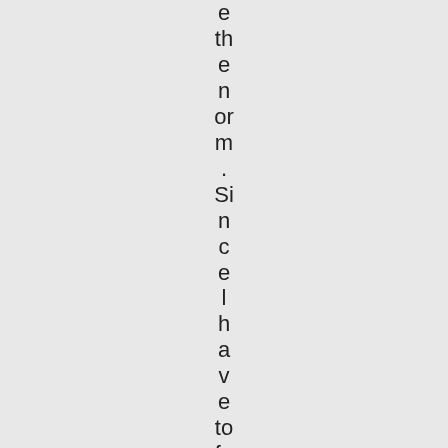e the norm. Since l have to factor the BadUPS